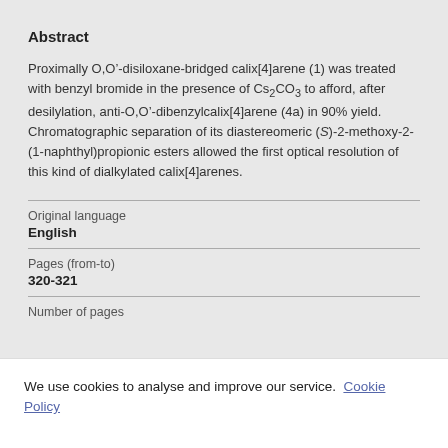Abstract
Proximally O,O'-disiloxane-bridged calix[4]arene (1) was treated with benzyl bromide in the presence of Cs₂CO₃ to afford, after desilylation, anti-O,O'-dibenzylcalix[4]arene (4a) in 90% yield. Chromatographic separation of its diastereomeric (S)-2-methoxy-2-(1-naphthyl)propionic esters allowed the first optical resolution of this kind of dialkylated calix[4]arenes.
Original language
English
Pages (from-to)
320-321
Number of pages
We use cookies to analyse and improve our service. Cookie Policy